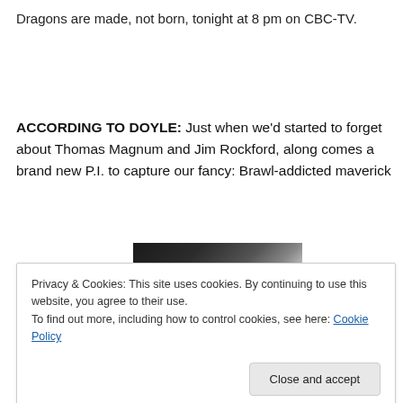Dragons are made, not born, tonight at 8 pm on CBC-TV.
ACCORDING TO DOYLE: Just when we'd started to forget about Thomas Magnum and Jim Rockford, along comes a brand new P.I. to capture our fancy: Brawl-addicted maverick
[Figure (photo): Partial photo of a person with dark hair at top, and blue shirt visible at bottom, partially obscured by cookie consent overlay.]
Privacy & Cookies: This site uses cookies. By continuing to use this website, you agree to their use.
To find out more, including how to control cookies, see here: Cookie Policy
Close and accept